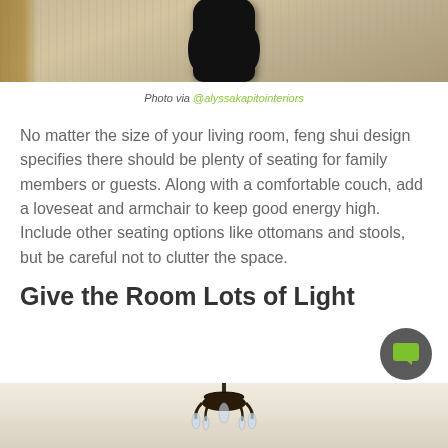[Figure (photo): Photo of a dark sculptural accent table or stool on a light beige/tan rug, with part of a wooden table visible on the left]
Photo via @alyssakapitointeriors
No matter the size of your living room, feng shui design specifies there should be plenty of seating for family members or guests. Along with a comfortable couch, add a loveseat and armchair to keep good energy high. Include other seating options like ottomans and stools, but be careful not to clutter the space.
Give the Room Lots of Light
[Figure (photo): Photo of an ornate chandelier hanging in a bright white room]